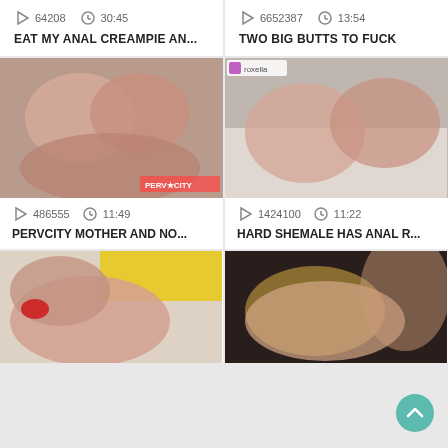[Figure (screenshot): Video thumbnail placeholder top-left]
64208   30:45
EAT MY ANAL CREAMPIE AN...
[Figure (screenshot): Video thumbnail placeholder top-right]
6652387   13:54
TWO BIG BUTTS TO FUCK
[Figure (photo): Video thumbnail middle-left showing two women]
486555   11:49
PERVCITY MOTHER AND NO...
[Figure (photo): Video thumbnail middle-right showing women on bed]
1424100   11:22
HARD SHEMALE HAS ANAL R...
[Figure (photo): Video thumbnail bottom-left]
[Figure (photo): Video thumbnail bottom-right]